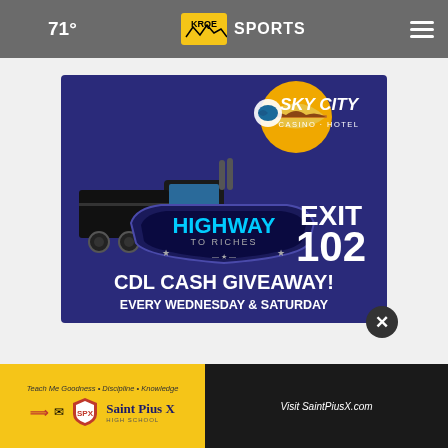71° KRQE SPORTS
[Figure (illustration): Sky City Casino Hotel advertisement: Highway to Riches CDL Cash Giveaway every Wednesday & Saturday, Exit 102. Features a semi-truck on a blue background with the Sky City Casino Hotel logo.]
[Figure (illustration): Saint Pius X High School advertisement: Teach Me Goodness • Discipline • Knowledge. Visit SaintPiusX.com]